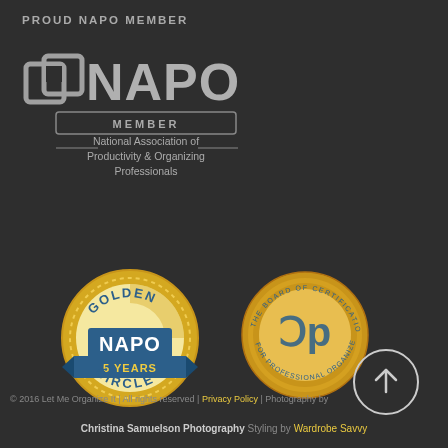PROUD NAPO MEMBER
[Figure (logo): NAPO Member logo — National Association of Productivity & Organizing Professionals — grey and silver logo with stylized overlapping squares icon and MEMBER banner]
[Figure (logo): NAPO Golden Circle 5 Years badge — gold circular badge with blue ribbon and NAPO text]
[Figure (logo): The Board of Certification for Professional Organizers gold coin badge with CPO logo]
[Figure (other): Scroll-to-top circular button with upward arrow]
© 2016 Let Me Organize It | All rights reserved | Privacy Policy | Photography by Christina Samuelson Photography Styling by Wardrobe Savvy